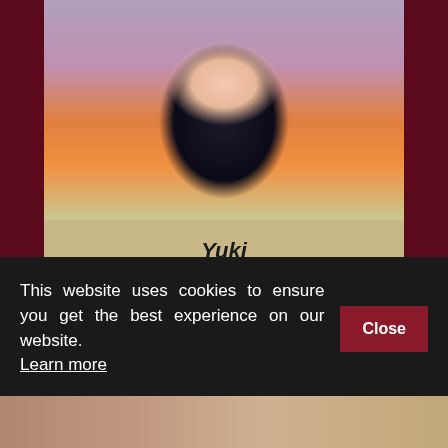[Figure (screenshot): Webcam screenshot of a young woman wearing an orange kimono with Japanese text/designs, sitting in a room with decorative items in background. Photo appears as a profile/preview card.]
Yuki
Yuki °·✦✧(◕ω◕)✧✦·° #japanese #asian #private #nonude #shy
This website uses cookies to ensure you get the best experience on our website. Learn more
Close